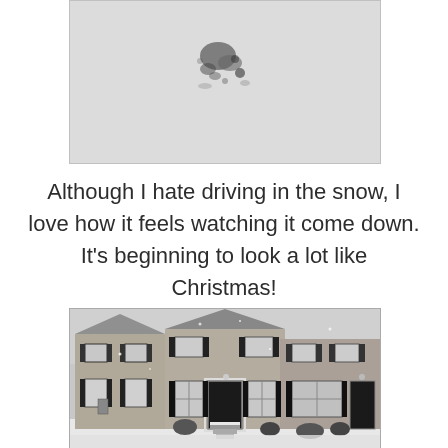[Figure (photo): Black and white photo showing dark marks/smudges on snow-covered ground]
Although I hate driving in the snow, I love how it feels watching it come down. It's beginning to look a lot like Christmas!
[Figure (photo): Black and white photo of a two-story townhouse/row house with snow on the ground, showing windows with shutters, front door with light fixture, and steps leading to entrance]